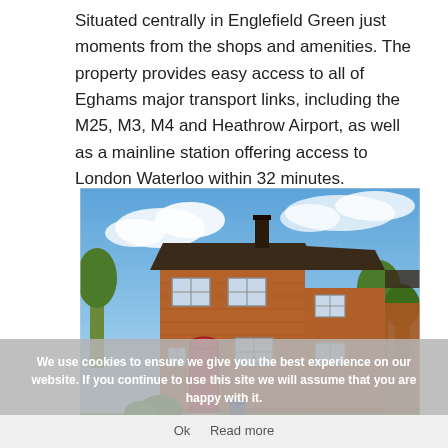Situated centrally in Englefield Green just moments from the shops and amenities. The property provides easy access to all of Eghams major transport links, including the M25, M3, M4 and Heathrow Airport, as well as a mainline station offering access to London Waterloo within 32 minutes.
[Figure (photo): Exterior photo of a row of brick semi-detached houses with red door, green lawn, daffodils in foreground, blue sky background]
We use cookies to ensure we give you the best experience on our website. If you continue to use this site we will assume that you are happy with it.
Ok   Read more